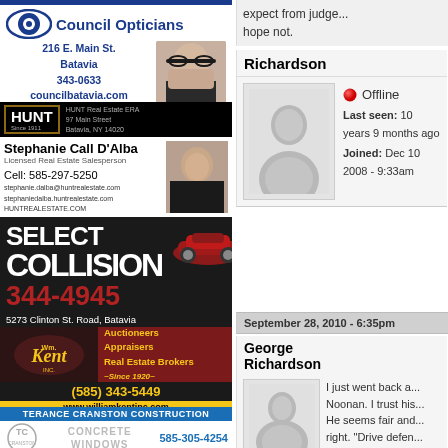[Figure (photo): Council Opticians advertisement with eye logo, address 216 E. Main St. Batavia 343-0633 councilbatavia.com, photo of woman with glasses]
[Figure (photo): HUNT Real Estate ERA advertisement featuring Stephanie Call D'Alba, Licensed Real Estate Salesperson, Cell: 585-297-5250]
[Figure (photo): Select Collision advertisement, phone 344-4945, 5273 Clinton St. Road, Batavia, with red car graphic]
[Figure (photo): Wm. Kent Inc. advertisement - Auctioneers, Appraisers, Real Estate Brokers, Since 1920, (585) 343-5449, www.williamkentinc.com]
[Figure (photo): Terance Cranston Construction - Concrete, Windows, Remodeling, 585-305-4254]
expect from judge... hope not.
Richardson
[Figure (photo): Default user avatar placeholder icon]
Offline
Last seen: 10 years 9 months ago
Joined: Dec 10 2008 - 9:33am
September 28, 2010 - 6:35pm
George Richardson
[Figure (photo): Default user avatar placeholder icon]
I just went back a... Noonan. I trust his... He seems fair and... right. "Drive defen... seemed like a com... dozen times in for...
Offline